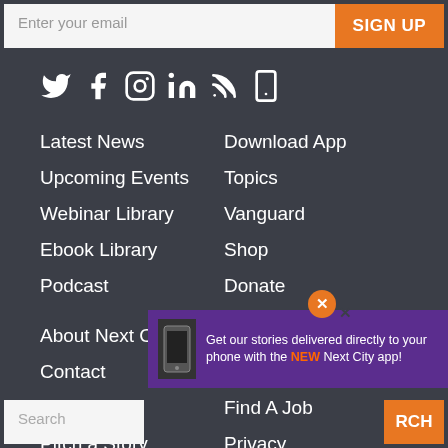[Figure (screenshot): Email input field with 'Enter your email' placeholder and orange SIGN UP button]
[Figure (infographic): Social media icons: Twitter, Facebook, Instagram, LinkedIn, RSS, Mobile app]
Latest News
Download App
Upcoming Events
Topics
Webinar Library
Vanguard
Ebook Library
Shop
Podcast
Donate
About Next City
Login
Contact
Post a Job Listing
Advertise
Find A Job
Pitch a Story
Privacy
Press Room
Terms
[Figure (screenshot): Purple ad banner: 'Get our stories delivered directly to your phone with the NEW Next City app!' with phone image]
Search
RCH